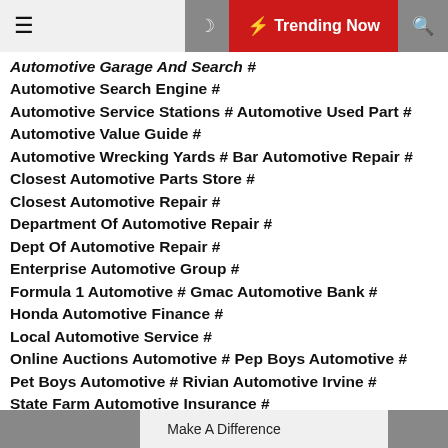☰ ☽ ⚡ Trending Now 🔍
Automotive Garage And Search # Automotive Search Engine # Automotive Service Stations # Automotive Used Part # Automotive Value Guide # Automotive Wrecking Yards # Bar Automotive Repair # Closest Automotive Parts Store # Closest Automotive Repair # Department Of Automotive Repair # Dept Of Automotive Repair # Enterprise Automotive Group # Formula 1 Automotive # Gmac Automotive Bank # Honda Automotive Finance # Local Automotive Service # Online Auctions Automotive # Pep Boys Automotive # Pet Boys Automotive # Rivian Automotive Irvine # State Farm Automotive Insurance # Summit Automotive Parts # Triple A Automotive Service #
Make A Difference